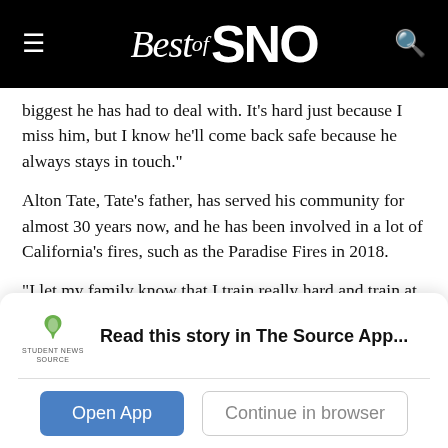Best of SNO
biggest he has had to deal with. It’s hard just because I miss him, but I know he’ll come back safe because he always stays in touch.”
Alton Tate, Tate’s father, has served his community for almost 30 years now, and he has been involved in a lot of California’s fires, such as the Paradise Fires in 2018.
“I let my family know that I train really hard and train at my best abilities so they’re not worried.” Tate’s father said. “I
Read this story in The Source App...
Open App
Continue in browser